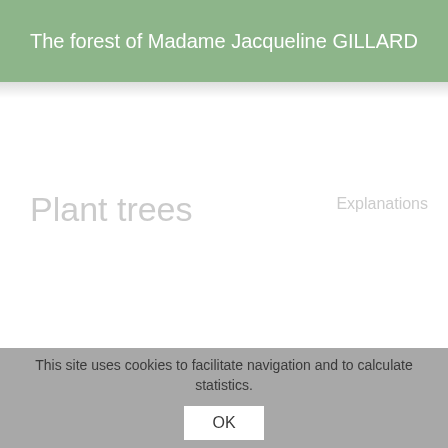The forest of Madame Jacqueline GILLARD
Plant trees
Explanations
This site uses cookies to facilitate navigation and to calculate statistics.
OK